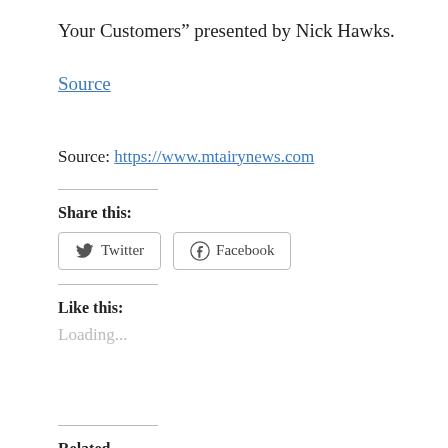Your Customers” presented by Nick Hawks.
Source
Source: https://www.mtairynews.com
Share this:
Twitter   Facebook
Like this:
Loading...
Related
SBC offering free webinars in   Free business seminars set in